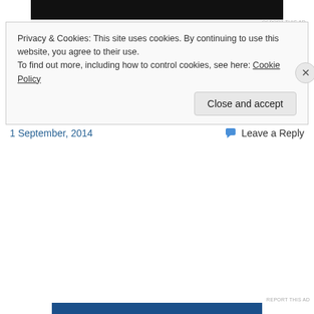[Figure (other): Black advertisement bar at top]
REPORT THIS AD
Share this:
[Figure (other): Reddit share button (circular light blue) and More button with share icon]
Loading...
1 September, 2014
Leave a Reply
Privacy & Cookies: This site uses cookies. By continuing to use this website, you agree to their use.
To find out more, including how to control cookies, see here: Cookie Policy
Close and accept
REPORT THIS AD